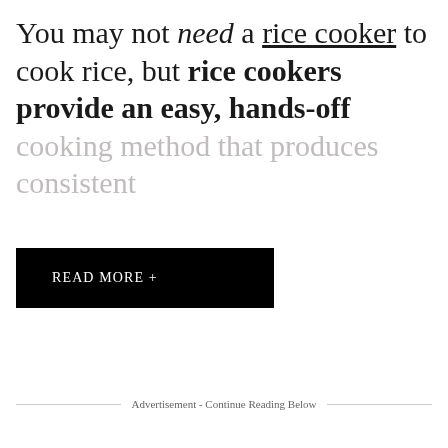You may not need a rice cooker to cook rice, but rice cookers provide an easy, hands-off cooking method that produces consistent
[Figure (other): Black button with white text reading 'READ MORE +']
Advertisement - Continue Reading Below